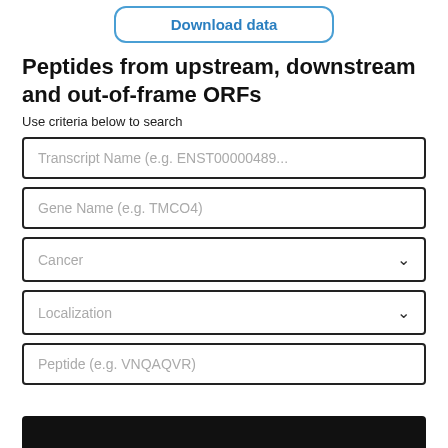[Figure (screenshot): Download data button with rounded border in blue]
Peptides from upstream, downstream and out-of-frame ORFs
Use criteria below to search
Transcript Name (e.g. ENST00000489...
Gene Name (e.g. TMCO4)
Cancer
Localization
Peptide (e.g. VNQAQVR)
[Figure (screenshot): Black bottom bar partially visible at bottom of page]